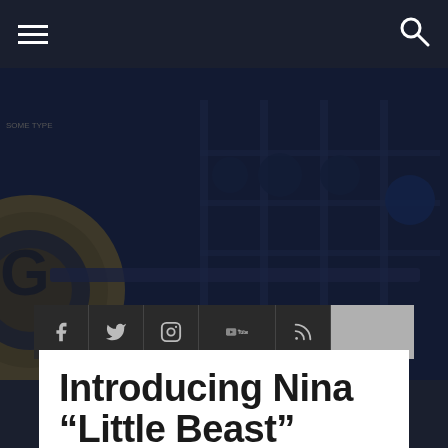Navigation bar with menu and search icons
[Figure (photo): Dark blue-tinted photo of a gym with weight plates and barbells on a rack]
[Figure (infographic): Social media icon bar with Facebook, Twitter, Instagram, YouTube, RSS icons on dark background, followed by a gray spacer block]
Introducing Nina “Little Beast” Medina